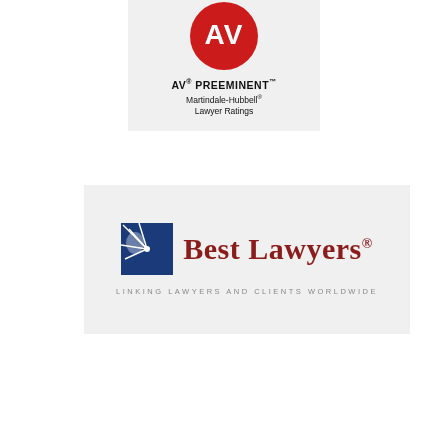[Figure (logo): AV Preeminent logo — red circle with 'AV' text, beneath it text 'AV® PREEMINENT™' and 'Martindale-Hubbell® Lawyer Ratings' on a light grey background]
[Figure (logo): Best Lawyers logo — blue square icon with white arc/star design on left, red serif 'Best Lawyers®' text on right, tagline 'LINKING LAWYERS AND CLIENTS WORLDWIDE' below, on a light grey background]